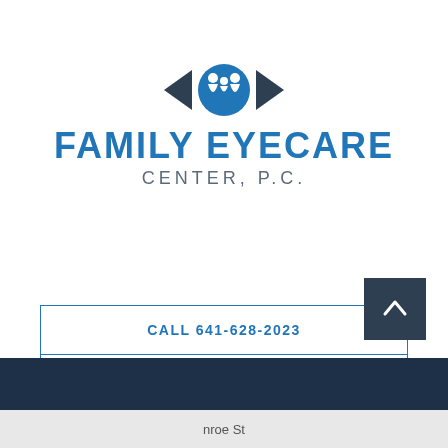[Figure (logo): Family Eyecare Center P.C. logo with eye icon showing dark blue arrow-like eyelids and a blue circle with family silhouette inside]
FAMILY EYECARE
CENTER, P.C.
CALL 641-628-2023
REQUEST APPOINTMENT
nroe St